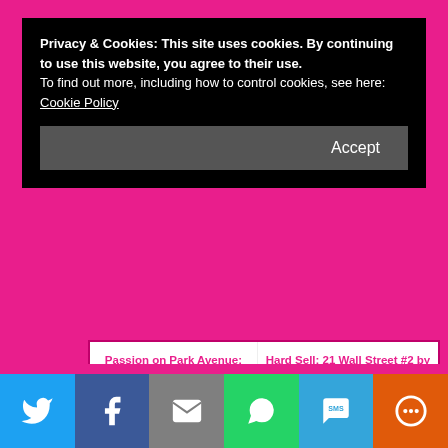Privacy & Cookies: This site uses cookies. By continuing to use this website, you agree to their use.
To find out more, including how to control cookies, see here:
Cookie Policy
Accept
Passion on Park Avenue: Central Park Pact #1 by Lauren Layne
Hard Sell: 21 Wall Street #2 by Lauren Layne
[Figure (photo): Book cover for 'I Think I Love You' by Lauren Layne, showing two people in an intimate close-up pose]
I Think I Love You: Oxford #5 by Lauren Layne
[Figure (infographic): Social sharing bar with icons: Twitter (blue), Facebook (dark blue), Email (grey), WhatsApp (green), SMS (light blue), More (orange)]